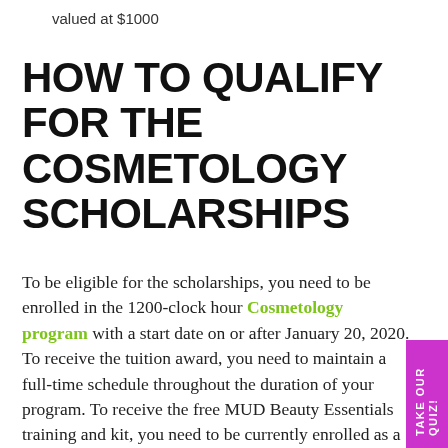valued at $1000
HOW TO QUALIFY FOR THE COSMETOLOGY SCHOLARSHIPS
To be eligible for the scholarships, you need to be enrolled in the 1200-clock hour Cosmetology program with a start date on or after January 20, 2020. To receive the tuition award, you need to maintain a full-time schedule throughout the duration of your program. To receive the free MUD Beauty Essentials training and kit, you need to be currently enrolled as a full or part-time Cosmetology student. For either award, you need to graduate within your originally contracted